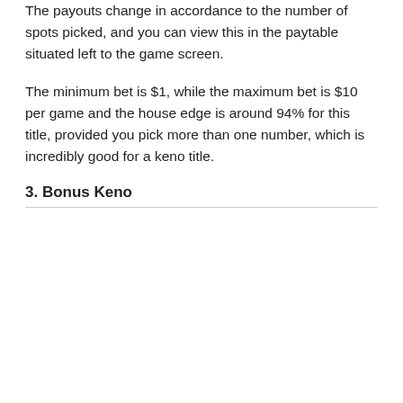The payouts change in accordance to the number of spots picked, and you can view this in the paytable situated left to the game screen.
The minimum bet is $1, while the maximum bet is $10 per game and the house edge is around 94% for this title, provided you pick more than one number, which is incredibly good for a keno title.
3. Bonus Keno